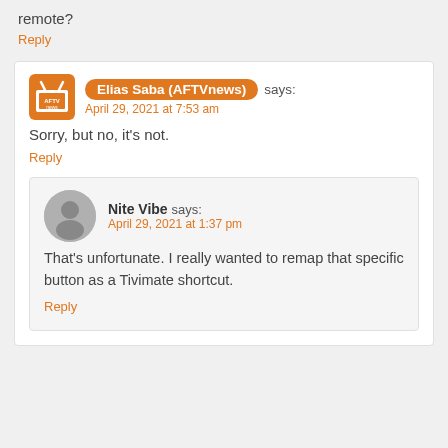remote?
Reply
Elias Saba (AFTVnews) says: April 29, 2021 at 7:53 am
Sorry, but no, it's not.
Reply
Nite Vibe says: April 29, 2021 at 1:37 pm
That's unfortunate. I really wanted to remap that specific button as a Tivimate shortcut.
Reply